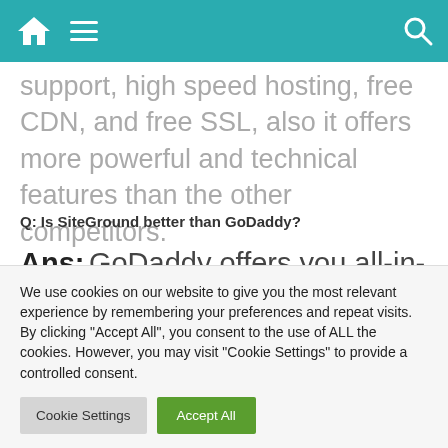[Navigation bar with home icon, menu icon, and search icon]
support, high speed hosting, free CDN, and free SSL, also it offers more powerful and technical features than the other competitors.
Q: Is SiteGround better than GoDaddy?
Ans: GoDaddy offers you all-in-one convenience which can't be found in SiteGround. Siteground is a
We use cookies on our website to give you the most relevant experience by remembering your preferences and repeat visits. By clicking "Accept All", you consent to the use of ALL the cookies. However, you may visit "Cookie Settings" to provide a controlled consent.